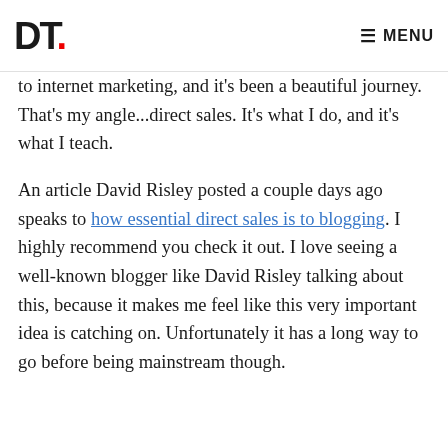DT. MENU
to internet marketing, and it's been a beautiful journey. That's my angle...direct sales. It's what I do, and it's what I teach.
An article David Risley posted a couple days ago speaks to how essential direct sales is to blogging. I highly recommend you check it out. I love seeing a well-known blogger like David Risley talking about this, because it makes me feel like this very important idea is catching on. Unfortunately it has a long way to go before being mainstream though.